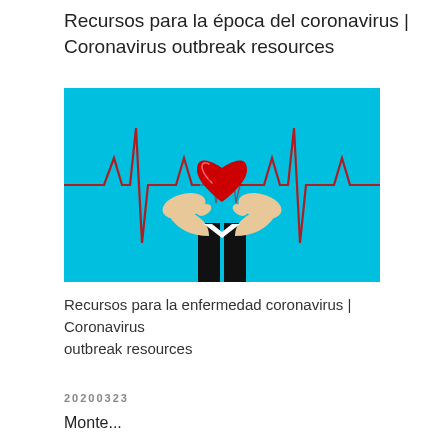Recursos para la época del coronavirus | Coronavirus outbreak resources
[Figure (illustration): Medical/health illustration showing two hands cupping a red heart with a cardiac monitor (ECG/EKG) heartbeat line running across a bright cyan/blue background. A person in a black suit is visible below the hands.]
Recursos para la enfermedad coronavirus | Coronavirus outbreak resources
20200323
Monte...